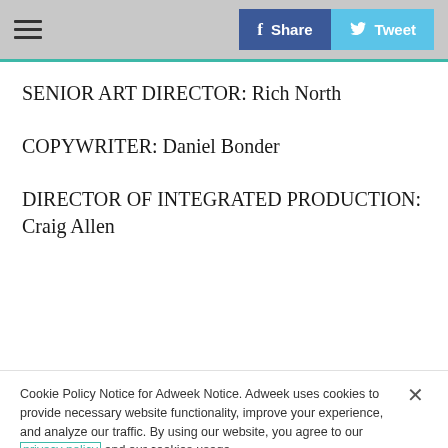≡  [Facebook Share]  [Tweet]
SENIOR ART DIRECTOR: Rich North
COPYWRITER: Daniel Bonder
DIRECTOR OF INTEGRATED PRODUCTION: Craig Allen
Cookie Policy Notice for Adweek Notice. Adweek uses cookies to provide necessary website functionality, improve your experience, and analyze our traffic. By using our website, you agree to our privacy policy and our cookies usage.
Cookies Settings    Accept All Cookies